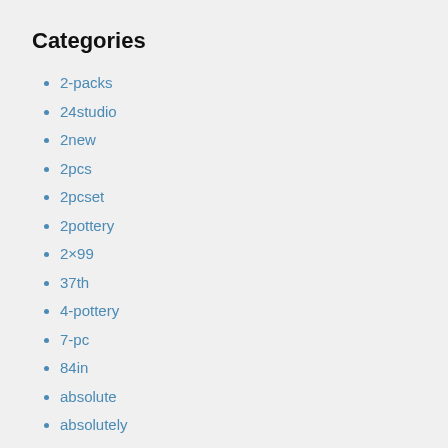Categories
2-packs
24studio
2new
2pcs
2pcset
2pottery
2×99
37th
4-pottery
7-pc
84in
absolute
absolutely
affordable